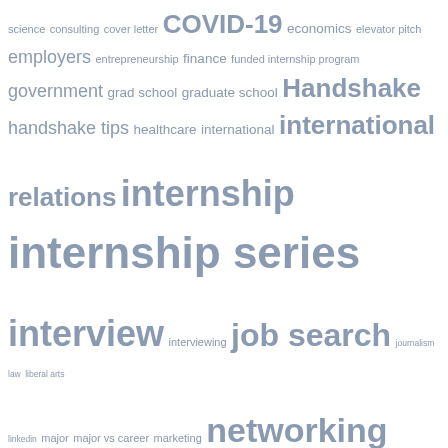[Figure (infographic): Tag cloud of career and education related topics in varying font sizes, all in a muted blue-grey color. Terms range from very small (journalism, law) to very large (internship series, soft skills). Topics include: science, consulting, cover letter, COVID-19, economics, elevator pitch, employers, entrepreneurship, finance, funded internship program, government, grad school, graduate school, Handshake, handshake tips, healthcare, international, international relations, internship, internship series, interview, interviewing, job search, journalism, law, liberal arts, linkedin, major, major vs career, marketing, networking, nonprofit, office etiquette, politics, post-grad, professional, professional development, public relations, questrom, reflection, research, resources + tools, resource spotlight, resume, resume building, self-discovery, skills, social media, soft skills, study abroad, technology, time management, urop, virtual, VMock, volunteering, work-life balance, workplace.]